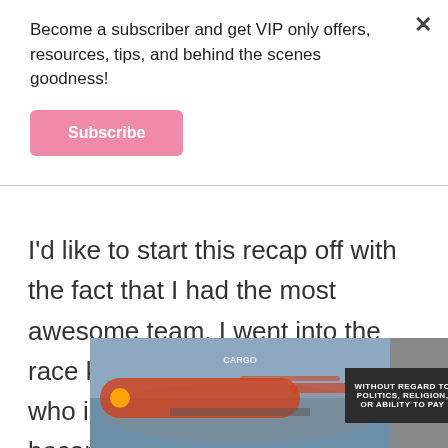Become a subscriber and get VIP only offers, resources, tips, and behind the scenes goodness!
Subscribe
I’d like to start this recap off with the fact that I had the most awesome team. I went into the race knowing only Dominique, who is a fellow Aggie that I became friends with at the gym I work out! I’m so glad that he invited me to join
[Figure (photo): Advertisement showing a cargo airplane being loaded, with a dark banner reading WITHOUT REGARD TO POLITICS, RELIGION, OR ABILITY TO PAY]